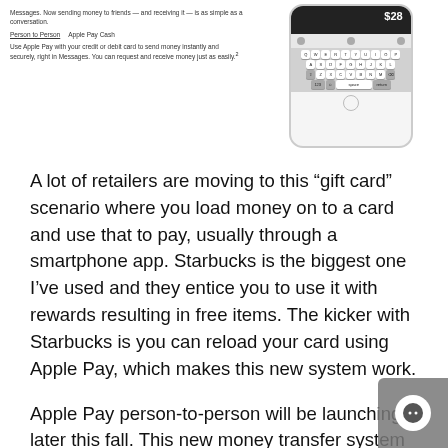[Figure (screenshot): Screenshot of a mobile app interface showing Apple Pay person-to-person payment feature with a phone mockup displaying a keyboard and $28 amount, alongside tabs 'Person to Person' and 'Apple Pay Cash' with descriptive text]
A lot of retailers are moving to this “gift card” scenario where you load money on to a card and use that to pay, usually through a smartphone app. Starbucks is the biggest one I’ve used and they entice you to use it with rewards resulting in free items. The kicker with Starbucks is you can reload your card using Apple Pay, which makes this new system work.
Apple Pay person-to-person will be launching later this fall. This new money transfer system will take a very long time to catch on, if ever. The older